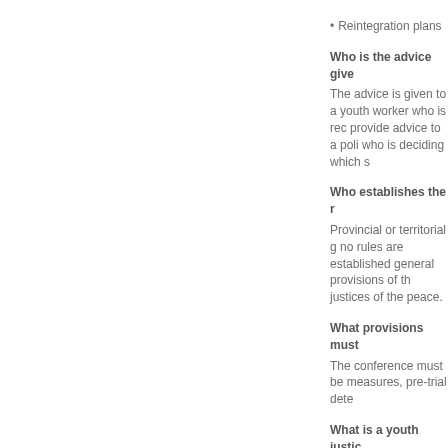Reintegration plans
Who is the advice give
The advice is given to a youth worker who is rec provide advice to a poli who is deciding which s
Who establishes the r
Provincial or territorial g no rules are established general provisions of th justices of the peace.
What provisions must
The conference must be measures, pre-trial dete
What is a youth justic
A youth justice committe administration of the YC committee could be to a